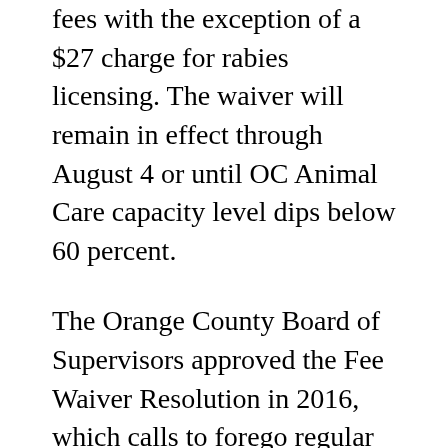fees with the exception of a $27 charge for rabies licensing. The waiver will remain in effect through August 4 or until OC Animal Care capacity level dips below 60 percent.
The Orange County Board of Supervisors approved the Fee Waiver Resolution in 2016, which calls to forego regular adoption costs when shelter capacity reaches above 80 percent. The resolution also applies when the shelter is expecting to see a sharp increase in numbers, such as the increase seen during the Fourth of July holiday.
OC Animal Care has been having a busy